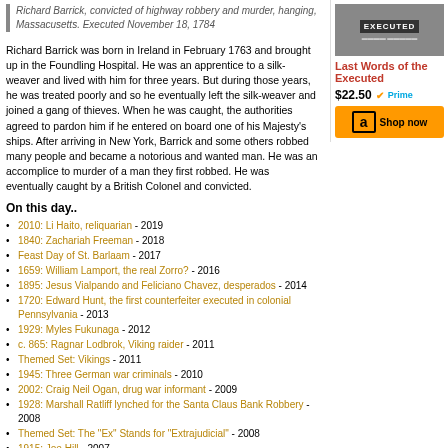Richard Barrick, convicted of highway robbery and murder, hanging, Massacusetts. Executed November 18, 1784
[Figure (other): Book cover image with 'EXECUTED' label and small text]
Last Words of the Executed
$22.50  Prime
Shop now (Amazon)
Richard Barrick was born in Ireland in February 1763 and brought up in the Foundling Hospital. He was an apprentice to a silk-weaver and lived with him for three years. But during those years, he was treated poorly and so he eventually left the silk-weaver and joined a gang of thieves. When he was caught, the authorities agreed to pardon him if he entered on board one of his Majesty's ships. After arriving in New York, Barrick and some others robbed many people and became a notorious and wanted man. He was an accomplice to murder of a man they first robbed. He was eventually caught by a British Colonel and convicted.
On this day..
2010: Li Haito, reliquarian - 2019
1840: Zachariah Freeman - 2018
Feast Day of St. Barlaam - 2017
1659: William Lamport, the real Zorro? - 2016
1895: Jesus Vialpando and Feliciano Chavez, desperados - 2014
1720: Edward Hunt, the first counterfeiter executed in colonial Pennsylvania - 2013
1929: Myles Fukunaga - 2012
c. 865: Ragnar Lodbrok, Viking raider - 2011
Themed Set: Vikings - 2011
1945: Three German war criminals - 2010
2002: Craig Neil Ogan, drug war informant - 2009
1928: Marshall Ratliff lynched for the Santa Claus Bank Robbery - 2008
Themed Set: The "Ex" Stands for "Extrajudicial" - 2008
1915: Joe Hill - 2007